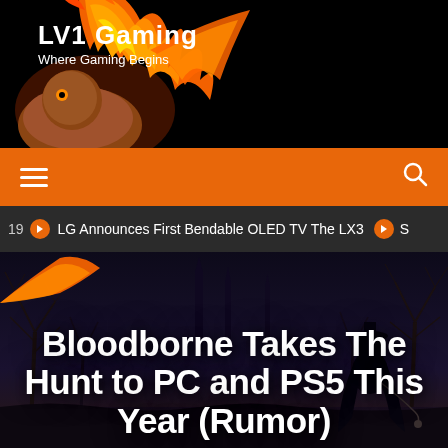LV1 Gaming — Where Gaming Begins
≡   🔍
19  ⊙ LG Announces First Bendable OLED TV The LX3  ⊙ S
Bloodborne Takes The Hunt to PC and PS5 This Year (Rumor)